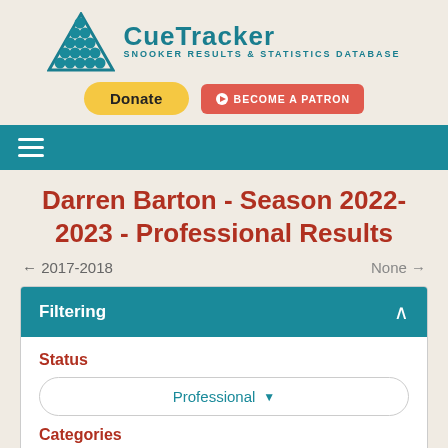[Figure (logo): CueTracker logo with triangle/snooker ball pyramid icon and text 'CueTracker Snooker Results & Statistics Database']
Donate
BECOME A PATRON
Darren Barton - Season 2022-2023 - Professional Results
← 2017-2018
None →
Filtering
Status
Professional
Categories